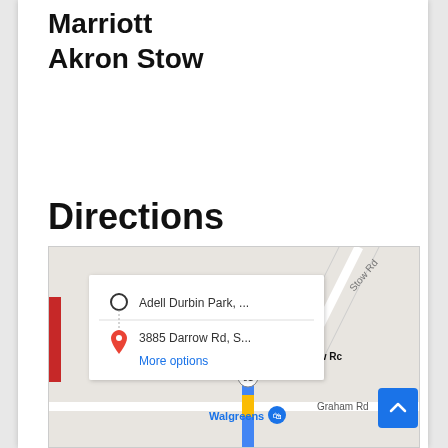Marriott
Akron Stow
Directions
[Figure (map): Google Maps screenshot showing directions from Adell Durbin Park to 3885 Darrow Rd, Stow, OH. Map shows Stow Rd, route marker, Walgreens, Graham Rd, and route 91. A directions panel overlay shows origin 'Adell Durbin Park, ...' and destination '3885 Darrow Rd, S...' with 'More options' link. A blue route line and red pin indicate the destination.]